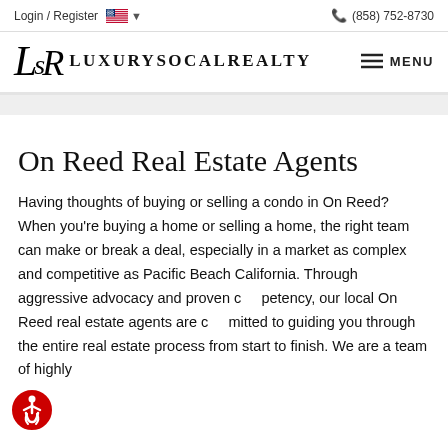Login / Register   🇺🇸 ▾   (858) 752-8730
[Figure (logo): LuxurySoCalRealty logo with LSR monogram and text, plus hamburger MENU button]
On Reed Real Estate Agents
Having thoughts of buying or selling a condo in On Reed? When you're buying a home or selling a home, the right team can make or break a deal, especially in a market as complex and competitive as Pacific Beach California. Through aggressive advocacy and proven competency, our local On Reed real estate agents are committed to guiding you through the entire real estate process from start to finish. We are a team of highly